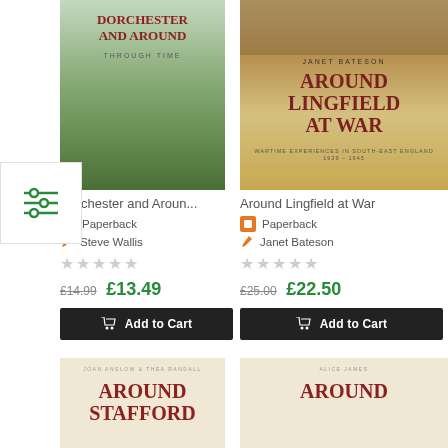[Figure (photo): Book cover: Dorchester and Around Through Time, landscape photo of green hills and village]
[Figure (photo): Book cover: Around Lingfield at War by Janet Bateson, wartime photo of people]
Dorchester and Aroun...
Paperback
Steve Wallis
★★★★★ (empty stars)
£14.99  £13.49
Add to Cart
Around Lingfield at War
Paperback
Janet Bateson
★★★★★ (empty stars)
£25.00  £22.50
Add to Cart
[Figure (photo): Book cover: Around Stafford by Joan Anslow & Thea Randall]
[Figure (photo): Book cover: Around ... by Alice James]